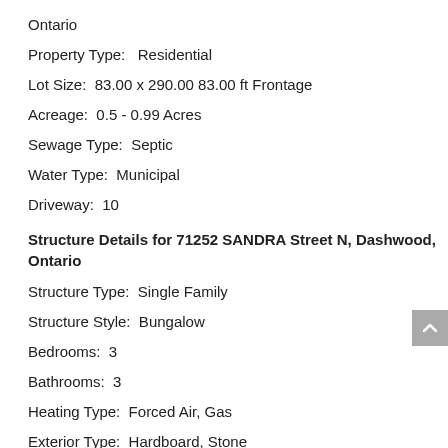Ontario
Property Type:   Residential
Lot Size:  83.00 x 290.00 83.00 ft Frontage
Acreage:  0.5 - 0.99 Acres
Sewage Type:  Septic
Water Type:  Municipal
Driveway:  10
Structure Details for 71252 SANDRA Street N, Dashwood, Ontario
Structure Type:  Single Family
Structure Style:  Bungalow
Bedrooms:  3
Bathrooms:  3
Heating Type:  Forced Air, Gas
Exterior Type:  Hardboard, Stone
Garage Type:  Yes (2 spaces)